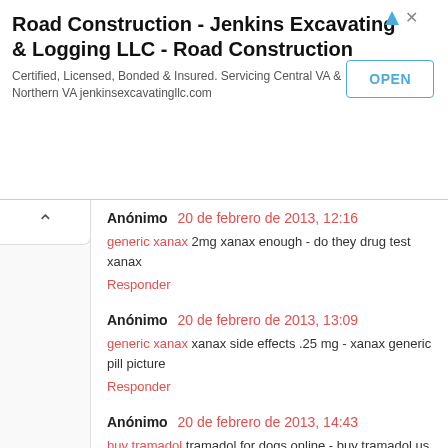[Figure (screenshot): Ad banner for Road Construction - Jenkins Excavating & Logging LLC with OPEN button]
Anónimo 20 de febrero de 2013, 12:16
generic xanax 2mg xanax enough - do they drug test xanax
Responder
Anónimo 20 de febrero de 2013, 13:09
generic xanax xanax side effects .25 mg - xanax generic pill picture
Responder
Anónimo 20 de febrero de 2013, 14:43
buy tramadol tramadol for dogs online - buy tramadol us pharmacy
Responder